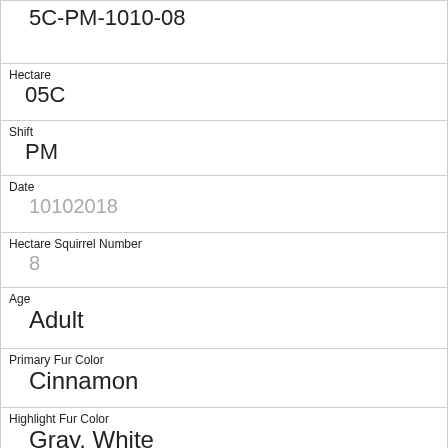| 5C-PM-1010-08 |
| Hectare | 05C |
| Shift | PM |
| Date | 10102018 |
| Hectare Squirrel Number | 8 |
| Age | Adult |
| Primary Fur Color | Cinnamon |
| Highlight Fur Color | Gray, White |
| Combination of Primary and Highlight Color | Cinnamon+Gray, White |
| Color notes |  |
| Location |  |